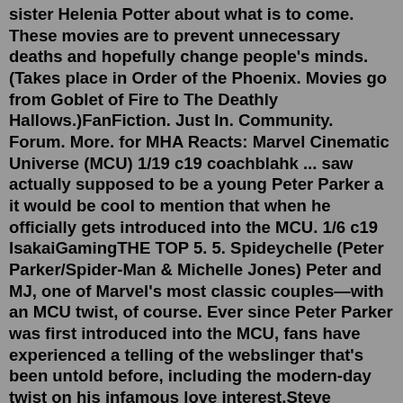sister Helenia Potter about what is to come. These movies are to prevent unnecessary deaths and hopefully change people's minds. (Takes place in Order of the Phoenix. Movies go from Goblet of Fire to The Deathly Hallows.)FanFiction. Just In. Community. Forum. More. for MHA Reacts: Marvel Cinematic Universe (MCU) 1/19 c19 coachblahk ... saw actually supposed to be a young Peter Parker a it would be cool to mention that when he officially gets introduced into the MCU. 1/6 c19 IsakaiGamingTHE TOP 5. 5. Spideychelle (Peter Parker/Spider-Man & Michelle Jones) Peter and MJ, one of Marvel's most classic couples—with an MCU twist, of course. Ever since Peter Parker was first introduced into the MCU, fans have experienced a telling of the webslinger that's been untold before, including the modern-day twist on his infamous love interest.Steve Rogers/Bucky Barnes AKA Stucky. Steve Rogers and Bucky Barnes' relationship in the MCU pulls a lot of inspiration from the comics, but their origins are a little different. In the comics, Bucky was a young kid